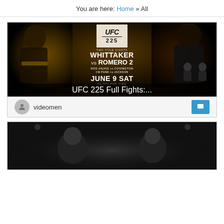You are here: Home » All
[Figure (photo): UFC 225 promotional image showing two fighters facing each other with text: TWO TITLE FIGHTS WHITTAKER vs ROMERO 2, DOS ANJOS vs COVINGTON, CM PUNK vs JACKSON, JUNE 9 SAT ON PAY-PER-VIEW]
UFC 225 Full Fights:...
videomen
[Figure (photo): WBC Light Heavyweight World Championship boxing promotional image showing two fighters in black and white]